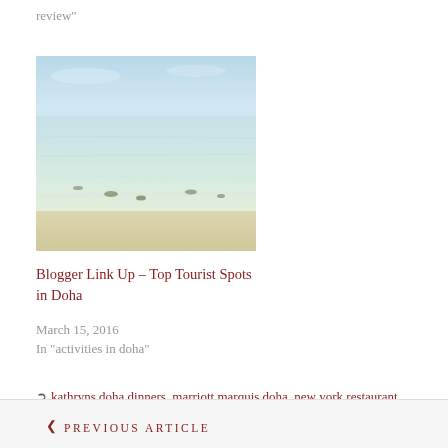review"
[Figure (photo): Beach/shallow water scene with clear turquoise water, sandy bottom, and a light blue sky. Several small dark objects visible in the shallow water.]
Blogger Link Up – Top Tourist Spots in Doha
March 15, 2016
In "activities in doha"
kathryns doha dinners, marriott marquis doha, new york restaurant week doha, new york steakhouse doha review, new york steakhouse marriott marquis, new york steakhouse review, steakhouse doha review
❮ PREVIOUS ARTICLE